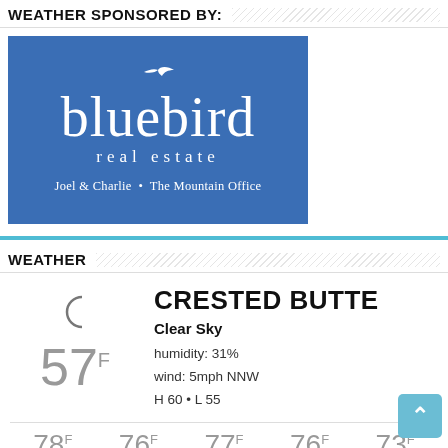WEATHER SPONSORED BY:
[Figure (logo): Bluebird Real Estate logo — blue rectangle with a white bird silhouette, large white text 'bluebird' and 'real estate', tagline 'Joel & Charlie • The Mountain Office']
WEATHER
CRESTED BUTTE
Clear Sky
humidity: 31%
wind: 5mph NNW
H 60 • L 55
57°F
78°F  76°F  77°F  76°F  73°F